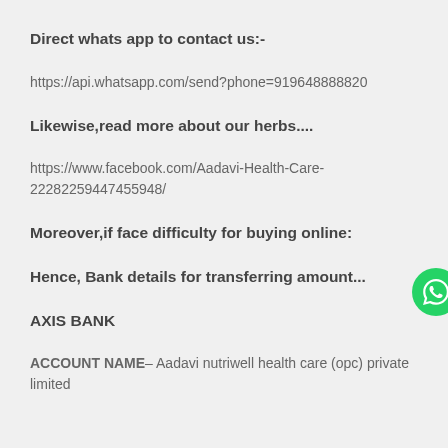Direct whats app to contact us:-
https://api.whatsapp.com/send?phone=919648888820
Likewise,read more about our herbs....
https://www.facebook.com/Aadavi-Health-Care-22282259447455948/
Moreover,if face difficulty for buying online:
Hence, Bank details for transferring amount...
AXIS BANK
ACCOUNT NAME– Aadavi nutriwell health care (opc) private limited